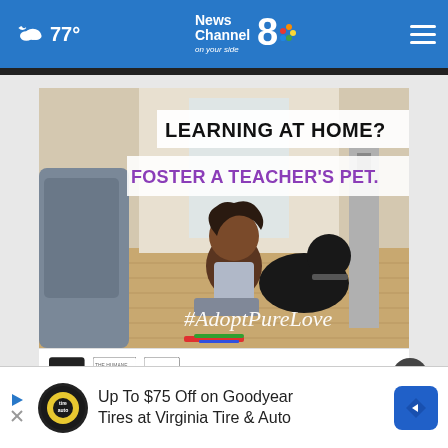77° | News Channel 8 on your side
[Figure (infographic): Advertisement showing a child and dog on the floor at home with text: LEARNING AT HOME? FOSTER A TEACHER'S PET. #AdoptPureLove. Logo bar: ad council, Humane Society, ASPCA, THESHELTERPETPROJECT.ORG]
Up To $75 Off on Goodyear Tires at Virginia Tire & Auto